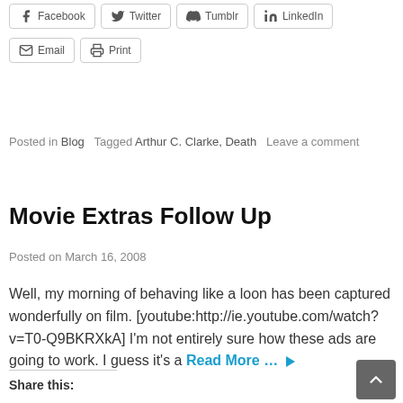Facebook  Twitter  Tumblr  LinkedIn
Email  Print
Posted in Blog   Tagged Arthur C. Clarke, Death   Leave a comment
Movie Extras Follow Up
Posted on March 16, 2008
Well, my morning of behaving like a loon has been captured wonderfully on film. [youtube:http://ie.youtube.com/watch?v=T0-Q9BKRXkA] I'm not entirely sure how these ads are going to work. I guess it's a Read More …
Share this: